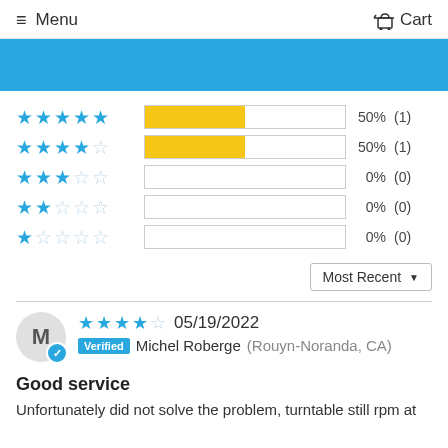≡ Menu  Cart
[Figure (other): Blue banner strip]
[Figure (bar-chart): Star rating distribution]
Most Recent ▼
M — Michel Roberge — 05/19/2022 — 4 stars — Verified — Rouyn-Noranda, CA
Good service
Unfortunately did not solve the problem, turntable still rpm at